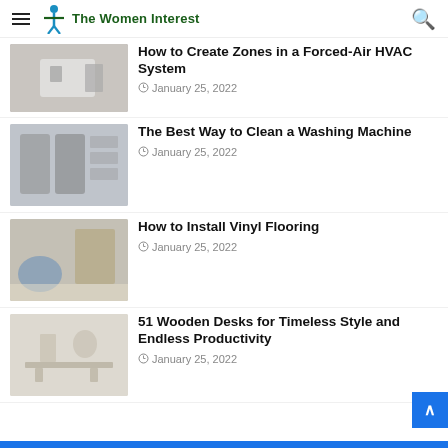The Women Interest
How to Create Zones in a Forced-Air HVAC System
January 25, 2022
The Best Way to Clean a Washing Machine
January 25, 2022
How to Install Vinyl Flooring
January 25, 2022
51 Wooden Desks for Timeless Style and Endless Productivity
January 25, 2022